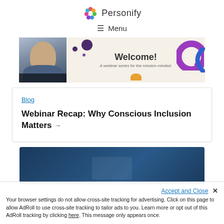Personify
☰ Menu
[Figure (screenshot): Webinar thumbnail showing a presenter on left and a 'Welcome! A webinar series for the mission-minded.' slide on the right with purple and blue decorative shapes]
Blog
Webinar Recap: Why Conscious Inclusion Matters →
[Figure (photo): Dark blue card/banner partially visible at bottom of page]
Accept and Close ✕
Your browser settings do not allow cross-site tracking for advertising. Click on this page to allow AdRoll to use cross-site tracking to tailor ads to you. Learn more or opt out of this AdRoll tracking by clicking here. This message only appears once.